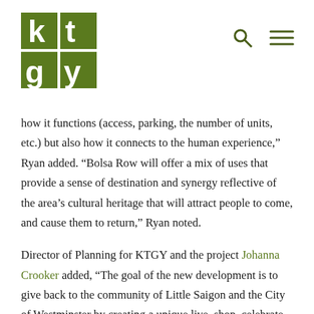KTGY logo with search and menu icons
how it functions (access, parking, the number of units, etc.) but also how it connects to the human experience,” Ryan added. “Bolsa Row will offer a mix of uses that provide a sense of destination and synergy reflective of the area’s cultural heritage that will attract people to come, and cause them to return,” Ryan noted.
Director of Planning for KTGY and the project Johanna Crooker added, “The goal of the new development is to give back to the community of Little Saigon and the City of Westminster by creating a unique live, shop, celebrate destination that evokes the spirit of pre-1970s Vietnam and honors the Vietnamese culture and traditions. The architectural style of the new development reflects French Colonial influences and the elegance of great spaces, lifestyle and the